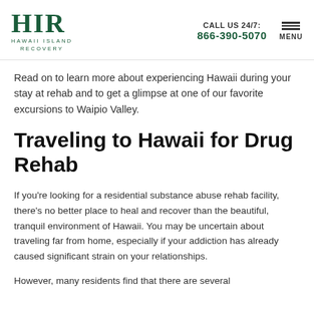HIR HAWAII ISLAND RECOVERY | CALL US 24/7: 866-390-5070 | MENU
Read on to learn more about experiencing Hawaii during your stay at rehab and to get a glimpse at one of our favorite excursions to Waipio Valley.
Traveling to Hawaii for Drug Rehab
If you're looking for a residential substance abuse rehab facility, there's no better place to heal and recover than the beautiful, tranquil environment of Hawaii. You may be uncertain about traveling far from home, especially if your addiction has already caused significant strain on your relationships.
However, many residents find that there are several